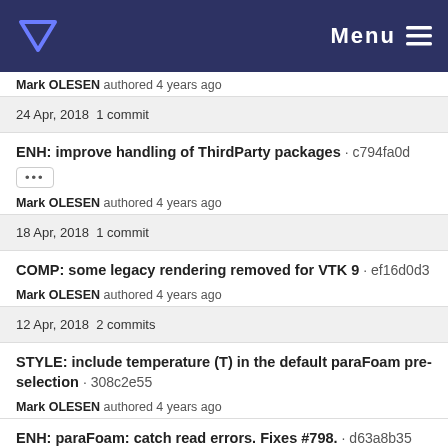Menu
Mark OLESEN authored 4 years ago
24 Apr, 2018 1 commit
ENH: improve handling of ThirdParty packages · c794fa0d
Mark OLESEN authored 4 years ago
18 Apr, 2018 1 commit
COMP: some legacy rendering removed for VTK 9 · ef16d0d3
Mark OLESEN authored 4 years ago
12 Apr, 2018 2 commits
STYLE: include temperature (T) in the default paraFoam pre-selection · 308c2e55
Mark OLESEN authored 4 years ago
ENH: paraFoam: catch read errors. Fixes #798. · d63a8b35
mattiis authored 4 years ago